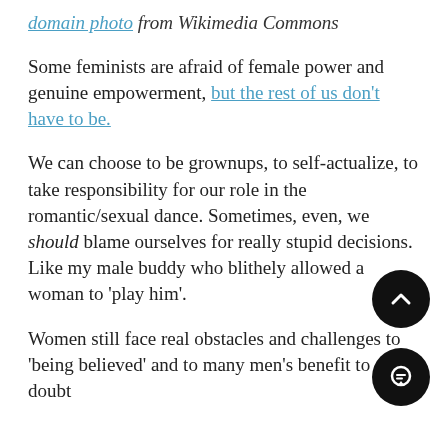domain photo from Wikimedia Commons
Some feminists are afraid of female power and genuine empowerment, but the rest of us don't have to be.
We can choose to be grownups, to self-actualize, to take responsibility for our role in the romantic/sexual dance. Sometimes, even, we should blame ourselves for really stupid decisions. Like my male buddy who blithely allowed a woman to 'play him'.
Women still face real obstacles and challenges to 'being believed' and to many men's benefit to cast doubt